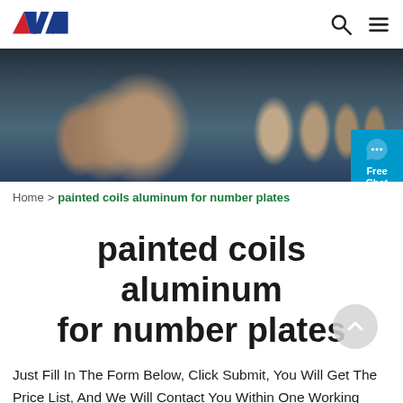AW logo, search icon, menu icon
[Figure (photo): Industrial aluminum coil rolls in a factory setting, large cylindrical rolls of aluminum on a production floor with dim blue-grey lighting]
Home > painted coils aluminum for number plates
painted coils aluminum for number plates
Just Fill In The Form Below, Click Submit, You Will Get The Price List, And We Will Contact You Within One Working Day. Please Also Feel Free To Contact Us Via Email Or